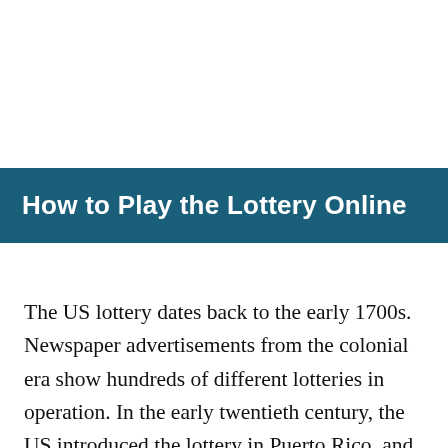How to Play the Lottery Online
The US lottery dates back to the early 1700s. Newspaper advertisements from the colonial era show hundreds of different lotteries in operation. In the early twentieth century, the US introduced the lottery in Puerto Rico, and the state of New Hampshire adopted the